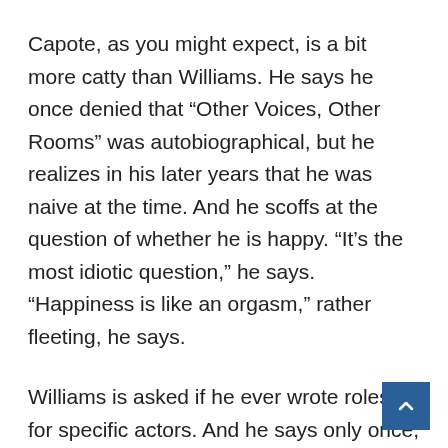Capote, as you might expect, is a bit more catty than Williams. He says he once denied that “Other Voices, Other Rooms” was autobiographical, but he realizes in his later years that he was naive at the time. And he scoffs at the question of whether he is happy. “It’s the most idiotic question,” he says. “Happiness is like an orgasm,” rather fleeting, he says.
Williams is asked if he ever wrote roles for specific actors. And he says only once, for Marlon Brando and Anna Magnani in “The Fugitive Kind.”